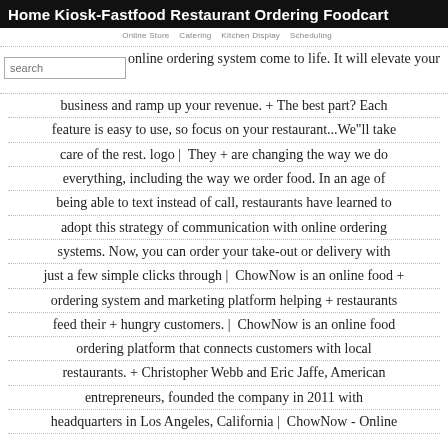Home  Kiosk-Fastfood  Restaurant Ordering  Foodcart
online ordering system come to life. It will elevate your business and ramp up your revenue. + The best part? Each feature is easy to use, so focus on your restaurant...We''ll take care of the rest. logo | They + are changing the way we do everything, including the way we order food. In an age of being able to text instead of call, restaurants have learned to adopt this strategy of communication with online ordering systems. Now, you can order your take-out or delivery with just a few simple clicks through | ChowNow is an online food + ordering system and marketing platform helping + restaurants feed their + hungry customers. | ChowNow is an online food ordering platform that connects customers with local restaurants. + Christopher Webb and Eric Jaffe, American entrepreneurs, founded the company in 2011 with headquarters in Los Angeles, California | ChowNow - Online